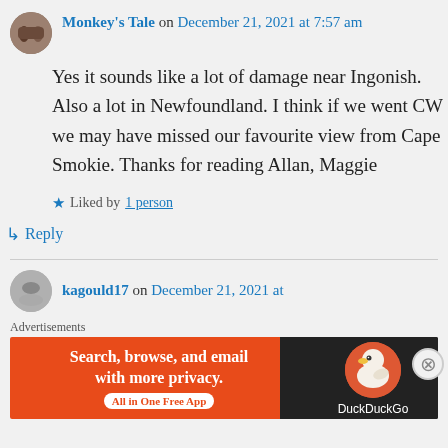Monkey's Tale on December 21, 2021 at 7:57 am
Yes it sounds like a lot of damage near Ingonish. Also a lot in Newfoundland. I think if we went CW we may have missed our favourite view from Cape Smokie. Thanks for reading Allan, Maggie
★ Liked by 1 person
↳ Reply
kagould17 on December 21, 2021 at
Advertisements
[Figure (screenshot): DuckDuckGo advertisement banner: 'Search, browse, and email with more privacy. All in One Free App' with DuckDuckGo duck logo on right side]